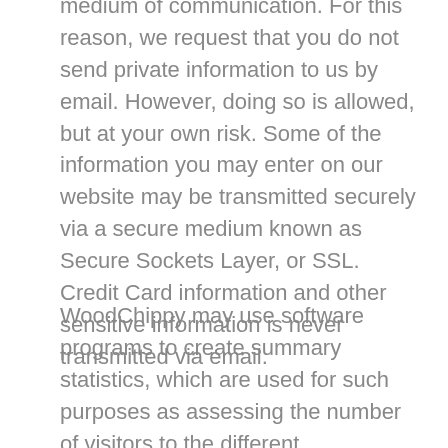medium of communication. For this reason, we request that you do not send private information to us by email. However, doing so is allowed, but at your own risk. Some of the information you may enter on our website may be transmitted securely via a secure medium known as Secure Sockets Layer, or SSL. Credit Card information and other sensitive information is never transmitted via email.
WoodChippy may use software programs to create summary statistics, which are used for such purposes as assessing the number of visitors to the different